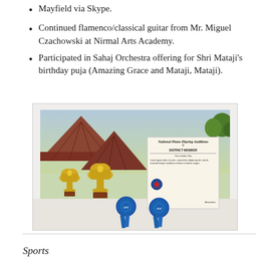Mayfield via Skype.
Continued flamenco/classical guitar from Mr. Miguel Czachowski at Nirmal Arts Academy.
Participated in Sahaj Orchestra offering for Shri Mataji's birthday puja (Amazing Grace and Mataji, Mataji).
[Figure (photo): Photo of two gold trophies and blue ribbons on a white windowsill, with a National Piano Playing Auditions District Member certificate leaning against the window. Outside the window shows rooftops and green trees.]